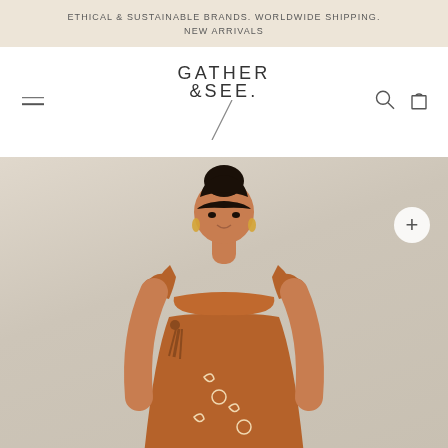ETHICAL & SUSTAINABLE BRANDS. WORLDWIDE SHIPPING. NEW ARRIVALS
[Figure (logo): GATHER & SEE. brand logo with diagonal slash beneath]
[Figure (photo): Female model wearing a rust/terracotta colored sleeveless dress with tie shoulders, tassels and crescent moon embroidery, hair in bun, looking down]